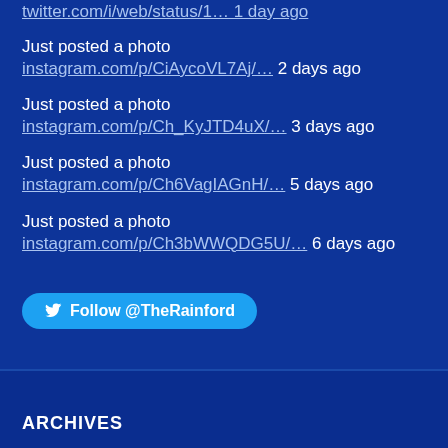twitter.com/i/web/status/1… 1 day ago
Just posted a photo instagram.com/p/CiAycoVL7Aj/… 2 days ago
Just posted a photo instagram.com/p/Ch_KyJTD4uX/… 3 days ago
Just posted a photo instagram.com/p/Ch6VagIAGnH/… 5 days ago
Just posted a photo instagram.com/p/Ch3bWWQDG5U/… 6 days ago
Follow @TheRainford
ARCHIVES
Select Month
CATEGORIES